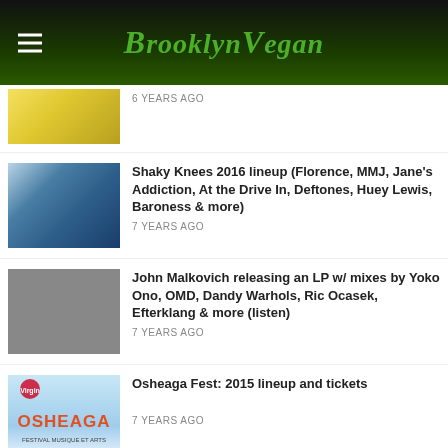Brooklyn Vegan
6 YEARS AGO
Shaky Knees 2016 lineup (Florence, MMJ, Jane's Addiction, At the Drive In, Deftones, Huey Lewis, Baroness & more)
7 YEARS AGO
John Malkovich releasing an LP w/ mixes by Yoko Ono, OMD, Dandy Warhols, Ric Ocasek, Efterklang & more (listen)
7 YEARS AGO
Osheaga Fest: 2015 lineup and tickets
7 YEARS AGO